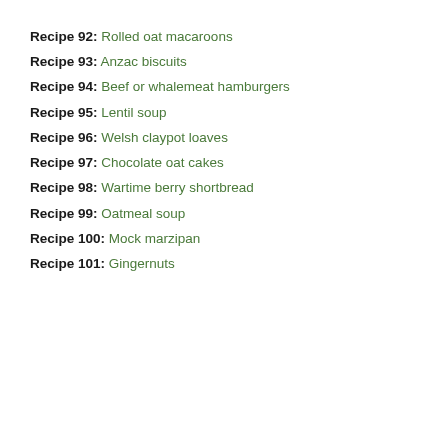Recipe 92: Rolled oat macaroons
Recipe 93: Anzac biscuits
Recipe 94: Beef or whalemeat hamburgers
Recipe 95: Lentil soup
Recipe 96: Welsh claypot loaves
Recipe 97: Chocolate oat cakes
Recipe 98: Wartime berry shortbread
Recipe 99: Oatmeal soup
Recipe 100: Mock marzipan
Recipe 101: Gingernuts